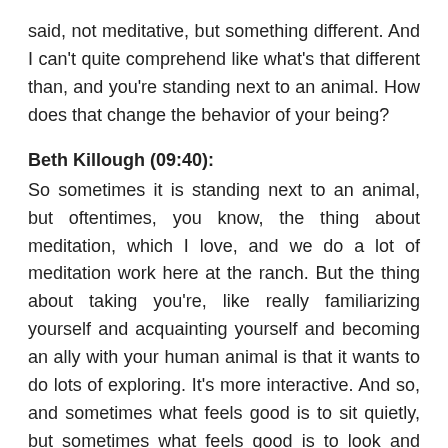said, not meditative, but something different. And I can't quite comprehend like what's that different than, and you're standing next to an animal. How does that change the behavior of your being?
Beth Killough (09:40):
So sometimes it is standing next to an animal, but oftentimes, you know, the thing about meditation, which I love, and we do a lot of meditation work here at the ranch. But the thing about taking you're, like really familiarizing yourself and acquainting yourself and becoming an ally with your human animal is that it wants to do lots of exploring. It's more interactive. And so, and sometimes what feels good is to sit quietly, but sometimes what feels good is to look and observe and interact with. And so that's, you know, you'll